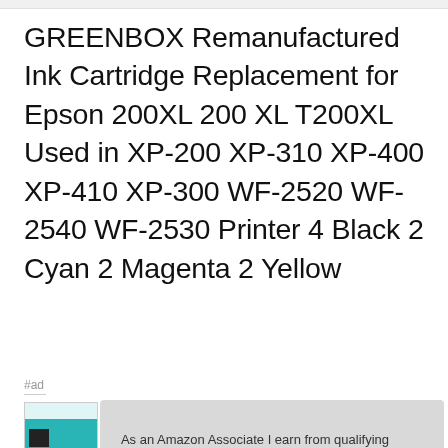GREENBOX Remanufactured Ink Cartridge Replacement for Epson 200XL 200 XL T200XL Used in XP-200 XP-310 XP-400 XP-410 XP-300 WF-2520 WF-2540 WF-2530 Printer 4 Black 2 Cyan 2 Magenta 2 Yellow
#ad
As an Amazon Associate I earn from qualifying purchases. This website uses the only necessary cookies to ensure you get the best experience on our website. More information